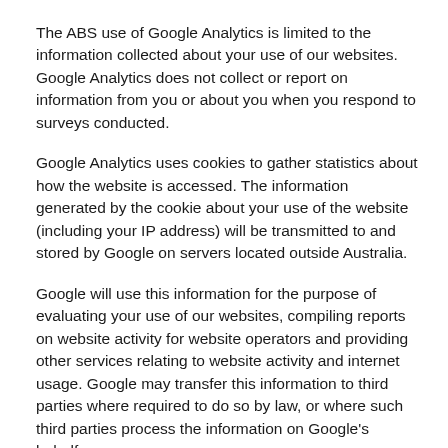The ABS use of Google Analytics is limited to the information collected about your use of our websites. Google Analytics does not collect or report on information from you or about you when you respond to surveys conducted.
Google Analytics uses cookies to gather statistics about how the website is accessed. The information generated by the cookie about your use of the website (including your IP address) will be transmitted to and stored by Google on servers located outside Australia.
Google will use this information for the purpose of evaluating your use of our websites, compiling reports on website activity for website operators and providing other services relating to website activity and internet usage. Google may transfer this information to third parties where required to do so by law, or where such third parties process the information on Google's behalf.